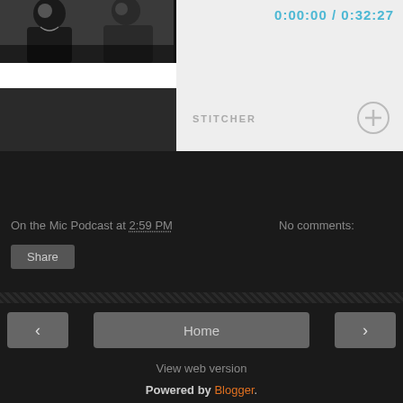[Figure (screenshot): Screenshot of a podcast player interface showing a black and white photo of two people on the left, a white panel on the right with a time display showing 0:00:00 / 0:32:27 in cyan/blue color, STITCHER label and a plus button circle]
On the Mic Podcast at 2:59 PM   No comments:
Share
Home
View web version
Powered by Blogger.